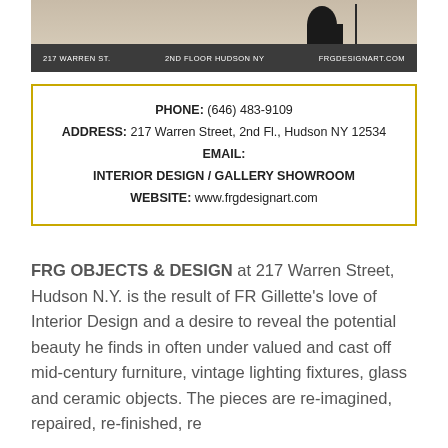[Figure (photo): Banner image of an interior design gallery showing furniture objects with a dark footer bar reading '217 WARREN ST. · 2ND FLOOR HUDSON NY · FRGDESIGNART.COM']
PHONE: (646) 483-9109
ADDRESS: 217 Warren Street, 2nd Fl., Hudson NY 12534
EMAIL:
INTERIOR DESIGN / GALLERY SHOWROOM
WEBSITE: www.frgdesignart.com
FRG OBJECTS & DESIGN at 217 Warren Street, Hudson N.Y. is the result of FR Gillette's love of Interior Design and a desire to reveal the potential beauty he finds in often under valued and cast off mid-century furniture, vintage lighting fixtures, glass and ceramic objects. The pieces are re-imagined, repaired, re-finished, re